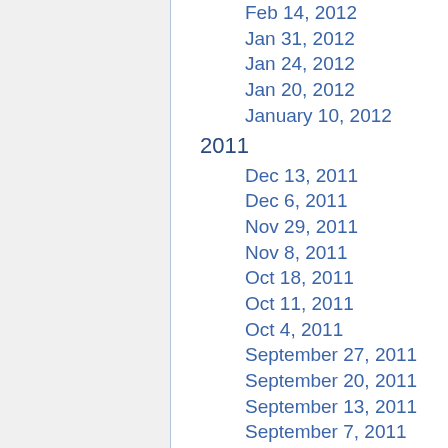Feb 14, 2012
Jan 31, 2012
Jan 24, 2012
Jan 20, 2012
January 10, 2012
2011
Dec 13, 2011
Dec 6, 2011
Nov 29, 2011
Nov 8, 2011
Oct 18, 2011
Oct 11, 2011
Oct 4, 2011
September 27, 2011
September 20, 2011
September 13, 2011
September 7, 2011
August 31, 2011
August 16, 2011
August 9, 2011
August 2, 2011
July 26, 2011